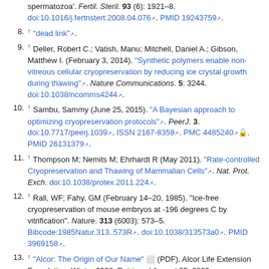spermatozoa'. Fertil. Steril. 93 (6): 1921–8. doi:10.1016/j.fertnstert.2008.04.076. PMID 19243759.
8. ↑ "dead link".
9. ↑ Deller, Robert C.; Vatish, Manu; Mitchell, Daniel A.; Gibson, Matthew I. (February 3, 2014). "Synthetic polymers enable non-vitreous cellular cryopreservation by reducing ice crystal growth during thawing". Nature Communications. 5: 3244. doi:10.1038/ncomms4244.
10. ↑ Sambu, Sammy (June 25, 2015). "A Bayesian approach to optimizing cryopreservation protocols". PeerJ. 3. doi:10.7717/peerj.1039. ISSN 2167-8359. PMC 4485240. PMID 26131379.
11. ↑ Thompson M; Nemits M; Ehrhardt R (May 2011). "Rate-controlled Cryopreservation and Thawing of Mammalian Cells". Nat. Prot. Exch. doi:10.1038/protex.2011.224.
12. ↑ Rall, WF; Fahy, GM (February 14–20, 1985). "Ice-free cryopreservation of mouse embryos at -196 degrees C by vitrification". Nature. 313 (6003): 573–5. Bibcode:1985Natur.313..573R. doi:10.1038/313573a0. PMID 3969158.
13. ↑ "Alcor: The Origin of Our Name" (PDF). Alcor Life Extension Foundation. Winter 2000. Retrieved August 25, 2009.